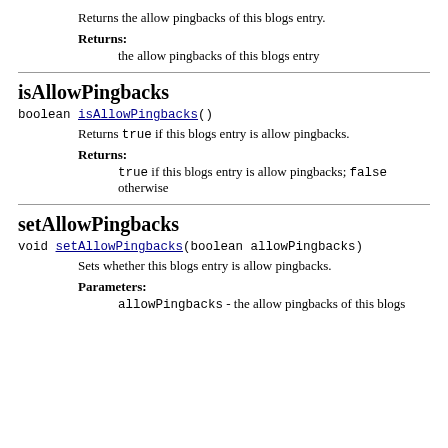Returns the allow pingbacks of this blogs entry.
Returns:
the allow pingbacks of this blogs entry
isAllowPingbacks
boolean isAllowPingbacks()
Returns true if this blogs entry is allow pingbacks.
Returns:
true if this blogs entry is allow pingbacks; false otherwise
setAllowPingbacks
void setAllowPingbacks(boolean allowPingbacks)
Sets whether this blogs entry is allow pingbacks.
Parameters:
allowPingbacks - the allow pingbacks of this blogs